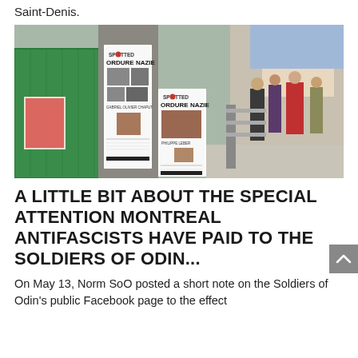Saint-Denis.
[Figure (photo): Photo of two 'SPOTTED ORDURE NAZIE' posters affixed to a concrete pillar on a street, with people walking in the background and storefronts visible.]
A LITTLE BIT ABOUT THE SPECIAL ATTENTION MONTREAL ANTIFASCISTS HAVE PAID TO THE SOLDIERS OF ODIN...
On May 13, Norm SoO posted a short note on the Soldiers of Odin's public Facebook page to the effect